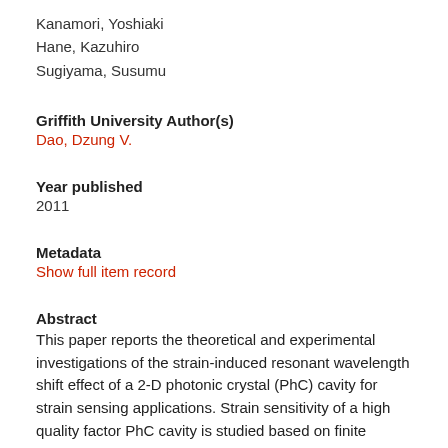Kanamori, Yoshiaki
Hane, Kazuhiro
Sugiyama, Susumu
Griffith University Author(s)
Dao, Dzung V.
Year published
2011
Metadata
Show full item record
Abstract
This paper reports the theoretical and experimental investigations of the strain-induced resonant wavelength shift effect of a 2-D photonic crystal (PhC) cavity for strain sensing applications. Strain sensitivity of a high quality factor PhC cavity is studied based on finite element method (FEM) and finite difference time domain (FDTD) simulations. The results show that the resonant wavelength of cavity is proportional to the application of strain. Linear relationships between strain applied and shift of resonant